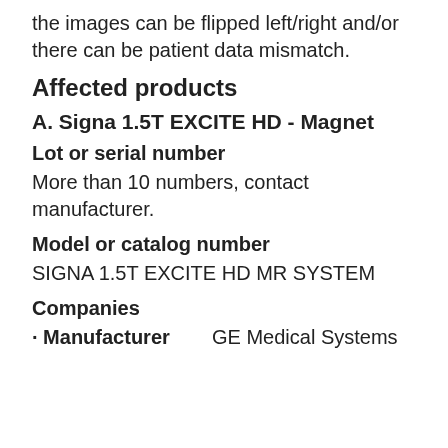the images can be flipped left/right and/or there can be patient data mismatch.
Affected products
A. Signa 1.5T EXCITE HD - Magnet
Lot or serial number
More than 10 numbers, contact manufacturer.
Model or catalog number
SIGNA 1.5T EXCITE HD MR SYSTEM
Companies
Manufacturer    GE Medical Systems